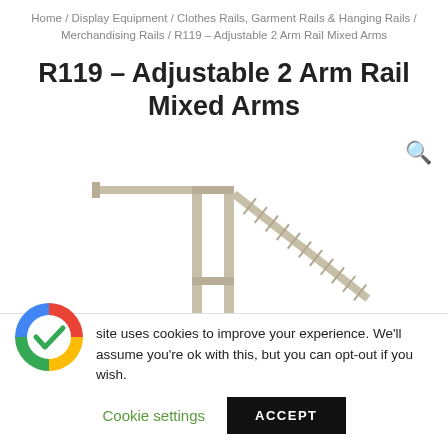Home / Display Equipment / Clothes Rails, Garment Rails & Hanging Rails / Merchandising Rails / R119 – Adjustable 2 Arm Rail Mixed Arms
R119 – Adjustable 2 Arm Rail Mixed Arms
[Figure (illustration): Product image of R119 Adjustable 2 Arm Rail with Mixed Arms (one horizontal arm and one angled arm with notches), shown in chrome/silver finish, on a white background. A search/zoom icon appears in the top right corner of the image area.]
site uses cookies to improve your experience. We'll assume you're ok with this, but you can opt-out if you wish.
Cookie settings   ACCEPT